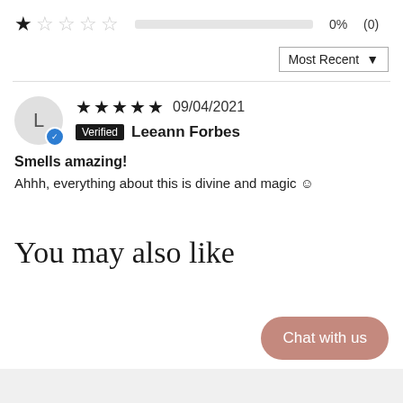1 star 0% (0)
Most Recent ▼
★★★★★ 09/04/2021 Verified Leeann Forbes
Smells amazing!
Ahhh, everything about this is divine and magic ☺
You may also like
Chat with us